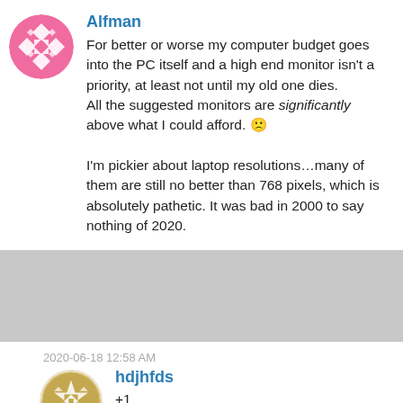[Figure (illustration): Pink circular avatar with geometric/tribal pattern in white]
Alfman
For better or worse my computer budget goes into the PC itself and a high end monitor isn't a priority, at least not until my old one dies.
All the suggested monitors are significantly above what I could afford. 🙁

I'm pickier about laptop resolutions…many of them are still no better than 768 pixels, which is absolutely pathetic. It was bad in 2000 to say nothing of 2020.
2020-06-18 12:58 AM
[Figure (illustration): Golden/tan circular avatar with geometric star/snowflake pattern]
hdjhfds
+1
I wouldn't pay an extra dime for the 61st or the 161st hz.
But getting a resolution that was not available during the Clinton administration is a must.
Seriously though, and I actually got burned...